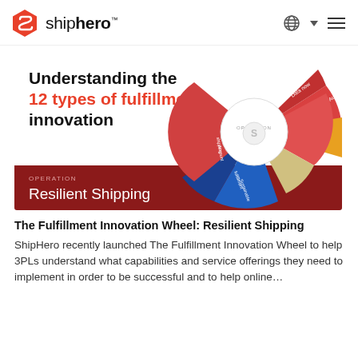shiphero™
[Figure (infographic): ShipHero blog card image showing 'Understanding the 12 types of fulfillment innovation' with a circular Fulfillment Innovation Wheel diagram and a dark red banner reading 'OPERATION — Resilient Shipping']
The Fulfillment Innovation Wheel: Resilient Shipping
ShipHero recently launched The Fulfillment Innovation Wheel to help 3PLs understand what capabilities and service offerings they need to implement in order to be successful and to help online…